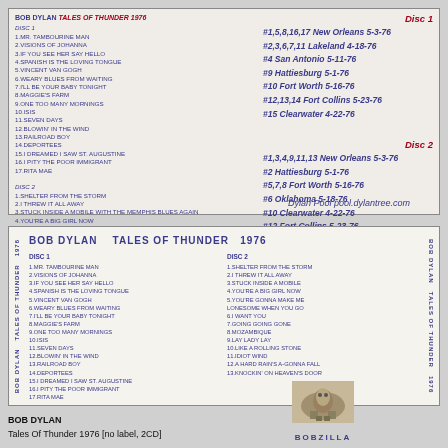[Figure (other): Top CD insert card for Bob Dylan Tales of Thunder 1976 showing tracklist on left and disc/location info on right with guitar player photo background]
[Figure (other): Bottom CD booklet showing Bob Dylan Tales of Thunder 1976 full tracklist for Disc 1 and Disc 2 with Bobzilla logo]
BOB DYLAN
Tales Of Thunder 1976 [no label, 2CD]